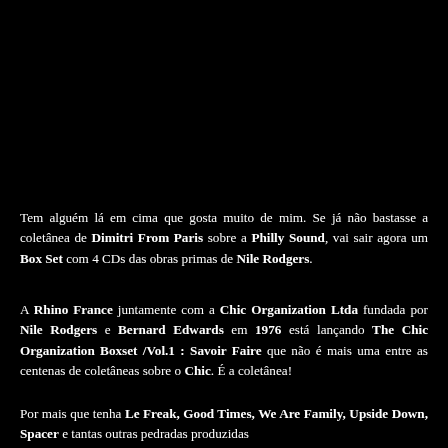Tem alguém lá em cima que gosta muito de mim. Se já não bastasse a coletânea de Dimitri From Paris sobre a Philly Sound, vai sair agora um Box Set com 4 CDs das obras primas de Nile Rodgers.
A Rhino France juntamente com a Chic Organization Ltda fundada por Nile Rodgers e Bernard Edwards em 1976 está lançando The Chic Organization Boxset /Vol.1 : Savoir Faire que não é mais uma entre as centenas de coletâneas sobre o Chic. É a coletânea!
Por mais que tenha Le Freak, Good Times, We Are Family, Upside Down, Spacer e tantas outras pedradas produzidas